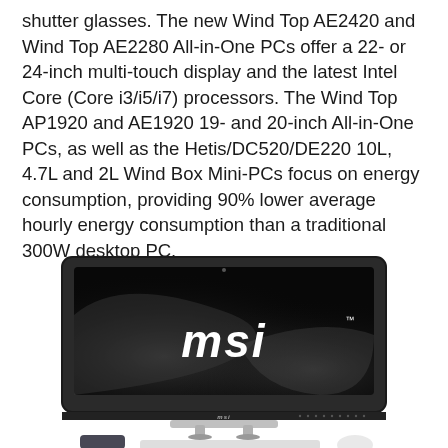shutter glasses. The new Wind Top AE2420 and Wind Top AE2280 All-in-One PCs offer a 22- or 24-inch multi-touch display and the latest Intel Core (Core i3/i5/i7) processors. The Wind Top AP1920 and AE1920 19- and 20-inch All-in-One PCs, as well as the Hetis/DC520/DE220 10L, 4.7L and 2L Wind Box Mini-PCs focus on energy consumption, providing 90% lower average hourly energy consumption than a traditional 300W desktop PC.
[Figure (photo): MSI All-in-One PC (Wind Top) displayed with keyboard and mouse below it. The monitor shows the MSI logo in white on a black and grey curved background. Below the screen bezel is a silver stand. A remote control and keyboard are visible at the bottom.]